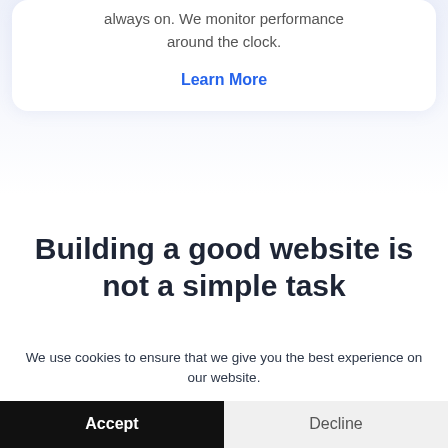always on. We monitor performance around the clock.
Learn More
Building a good website is not a simple task
We use cookies to ensure that we give you the best experience on our website.
Accept
Decline